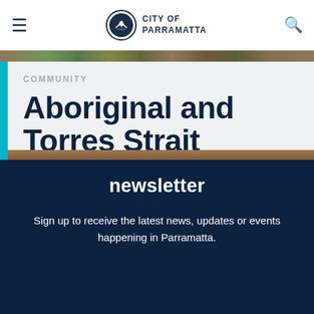CITY OF PARRAMATTA
[Figure (photo): Outdoor nature/park photo strip at top of page]
COMMUNITY
Aboriginal and Torres Strait Islander Community
[Figure (photo): Background photo strip between content and newsletter section]
newsletter
Sign up to receive the latest news, updates or events happening in Parramatta.